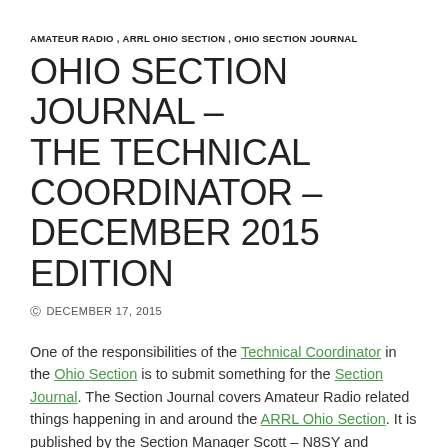AMATEUR RADIO , ARRL OHIO SECTION , OHIO SECTION JOURNAL
OHIO SECTION JOURNAL – THE TECHNICAL COORDINATOR – DECEMBER 2015 EDITION
DECEMBER 17, 2015
One of the responsibilities of the Technical Coordinator in the Ohio Section is to submit something for the Section Journal. The Section Journal covers Amateur Radio related things happening in and around the ARRL Ohio Section. It is published by the Section Manager Scott – N8SY and articles are submitted by cabinet members.